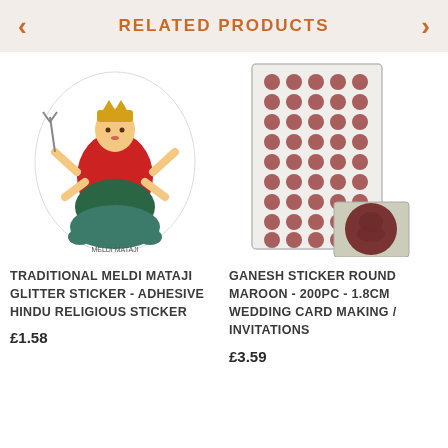RELATED PRODUCTS
[Figure (photo): Traditional Meldi Mataji glitter sticker product image showing Hindu goddess seated on a lion, decorative sticker with white outline shape]
TRADITIONAL MELDI MATAJI GLITTER STICKER - ADHESIVE HINDU RELIGIOUS STICKER
£1.58
[Figure (photo): Ganesh sticker round maroon product image showing a sheet of 200 small round maroon stickers with Ganesh print, with a close-up insert showing detail of one sticker]
GANESH STICKER ROUND MAROON - 200PC - 1.8CM WEDDING CARD MAKING / INVITATIONS
£3.59